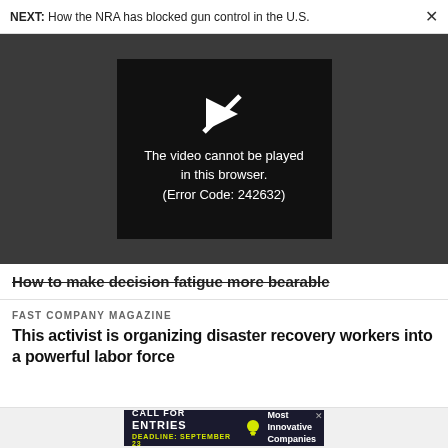NEXT: How the NRA has blocked gun control in the U.S.
[Figure (screenshot): Video player showing error message: The video cannot be played in this browser. (Error Code: 242632)]
How to make decision fatigue more bearable
FAST COMPANY MAGAZINE
This activist is organizing disaster recovery workers into a powerful labor force
[Figure (infographic): Advertisement banner: CALL FOR ENTRIES - DEADLINE: SEPTEMBER 23 - Most Innovative Companies]